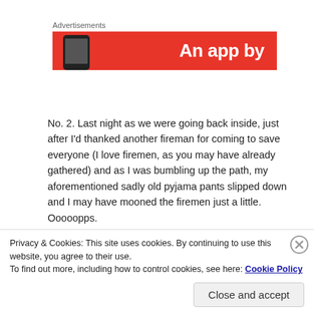Advertisements
[Figure (illustration): Red advertisement banner with white bold text 'An app by' and a partial phone image on the left]
No. 2. Last night as we were going back inside, just after I'd thanked another fireman for coming to save everyone (I love firemen, as you may have already gathered) and as I was bumbling up the path, my aforementioned sadly old pyjama pants slipped down and I may have mooned the firemen just a little. Ooooopps.
Privacy & Cookies: This site uses cookies. By continuing to use this website, you agree to their use.
To find out more, including how to control cookies, see here: Cookie Policy
Close and accept